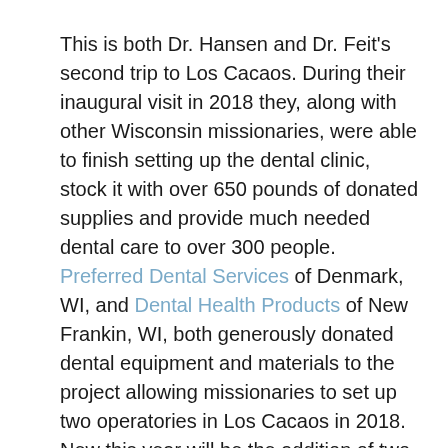This is both Dr. Hansen and Dr. Feit's second trip to Los Cacaos.  During their inaugural visit in 2018  they, along with other Wisconsin missionaries, were able to finish setting up the dental clinic, stock it with over 650 pounds of donated supplies and provide much needed dental care to over 300 people. Preferred Dental Services of Denmark, WI, and Dental Health Products of New Frankin, WI, both generously donated dental equipment and materials to the project allowing missionaries to set up two operatories in Los Cacaos in 2018.  New this year will be the addition of two more dental chairs and a suction system to help aide them in providing care.  Missionaries will have 7 clinic days during which they will provide